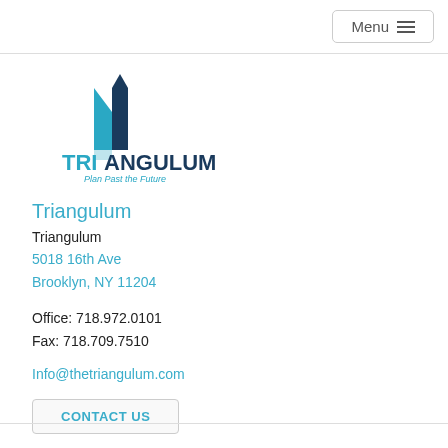Menu ≡
[Figure (logo): Triangulum logo with teal triangle/arrow geometric shape above text reading TRIANGULUM Plan Past the Future]
Triangulum
Triangulum
5018 16th Ave
Brooklyn, NY 11204
Office: 718.972.0101
Fax: 718.709.7510
Info@thetriangulum.com
CONTACT US